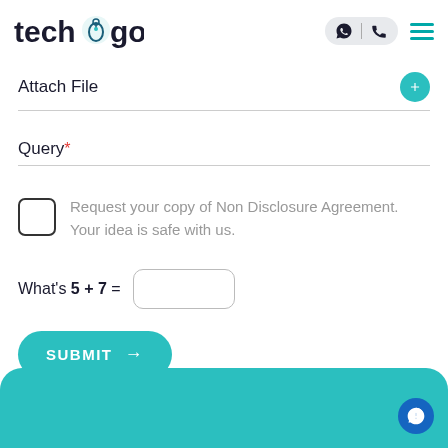[Figure (logo): Techugo logo with teal mouse-shaped 'o' icon]
Attach File
Query *
Request your copy of Non Disclosure Agreement. Your idea is safe with us.
What's 5 + 7 =
SUBMIT →